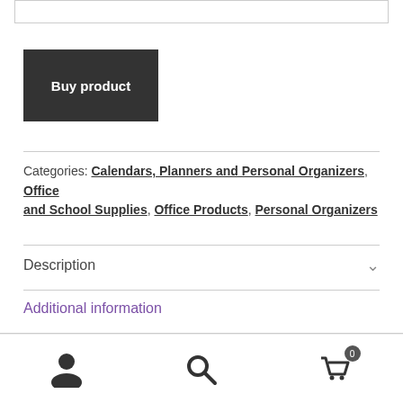[input bar — top of page]
Buy product
Categories: Calendars, Planners and Personal Organizers, Office and School Supplies, Office Products, Personal Organizers
Description
Additional information
[user icon] [search icon] [cart icon with badge 0]